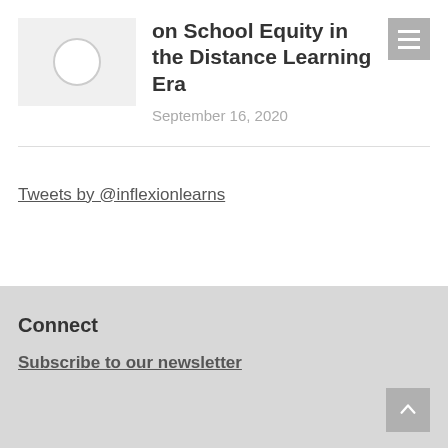[Figure (photo): Thumbnail image placeholder with circle icon]
on School Equity in the Distance Learning Era
September 16, 2020
Tweets by @inflexionlearns
Connect
Subscribe to our newsletter